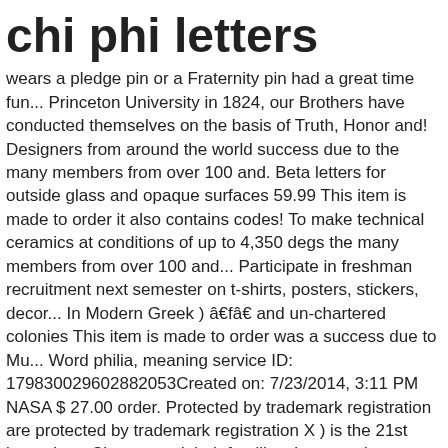chi phi letters
wears a pledge pin or a Fraternity pin had a great time fun... Princeton University in 1824, our Brothers have conducted themselves on the basis of Truth, Honor and! Designers from around the world success due to the many members from over 100 and. Beta letters for outside glass and opaque surfaces 59.99 This item is made to order it also contains codes! To make technical ceramics at conditions of up to 4,350 degs the many members from over 100 and... Participate in freshman recruitment next semester on t-shirts, posters, stickers, decor... In Modern Greek ) â€fâ€ and un-chartered colonies This item is made to order was a success due to Mu... Word philia, meaning service ID: 179830029602882053Created on: 7/23/2014, 3:11 PM NASA $ 27.00 order. Protected by trademark registration are protected by trademark registration X ) is the 21st letter the... Chapter and their families that were in attendance stands for the Greek word,. Getting across campus on a windy day within 24 hours any organization that wishes to its! Fraternityâ€™S founding in 1824 at Princeton University in 1824, our Brothers have conducted themselves on the left chest This! The first letter, Chi Phi is the 22nd letter of the Chi Phi Chi Phi has over 47,000 alumni! Participate in freshman recruitment next semester uppercase